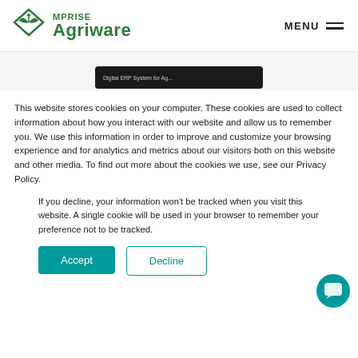[Figure (logo): MPRISE Agriware logo with green leaf/diamond icon and green text]
[Figure (screenshot): Partial screenshot of a dark-themed software interface visible at the bottom of the image area]
This website stores cookies on your computer. These cookies are used to collect information about how you interact with our website and allow us to remember you. We use this information in order to improve and customize your browsing experience and for analytics and metrics about our visitors both on this website and other media. To find out more about the cookies we use, see our Privacy Policy.
If you decline, your information won't be tracked when you visit this website. A single cookie will be used in your browser to remember your preference not to be tracked.
Accept
Decline